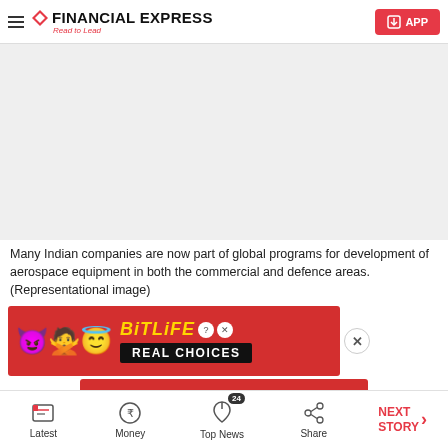FINANCIAL EXPRESS — Read to Lead | APP
[Figure (photo): Light gray placeholder image area representing an article image about Indian aerospace companies]
Many Indian companies are now part of global programs for development of aerospace equipment in both the commercial and defence areas. (Representational image)
[Figure (screenshot): BitLife advertisement banner with emojis (devil, person, angel) and text REAL CHOICES on red background]
[Figure (screenshot): Second BitLife advertisement banner with emojis (devil, person, angel) and text REAL CHOICES on red background]
Latest | Money | Top News 24 | Share | NEXT STORY